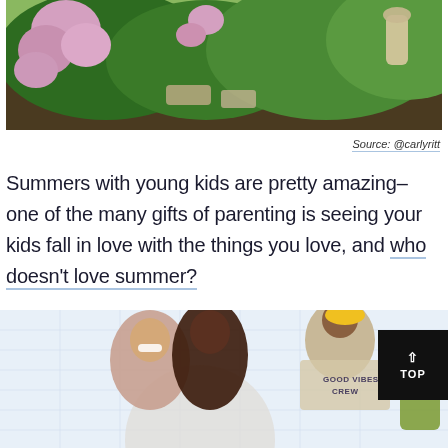[Figure (photo): Garden scene with pink flowering hydrangea bushes, green foliage, stepping stones on dark mulch, and additional plants in the background.]
Source: @carlyritt
Summers with young kids are pretty amazing–one of the many gifts of parenting is seeing your kids fall in love with the things you love, and who doesn't love summer?
[Figure (photo): Two women smiling together on a light blue grid background alongside a person wearing a 'Good Vibes Crew' sweatshirt and a yellow cap, with a green backpack visible on the right side.]